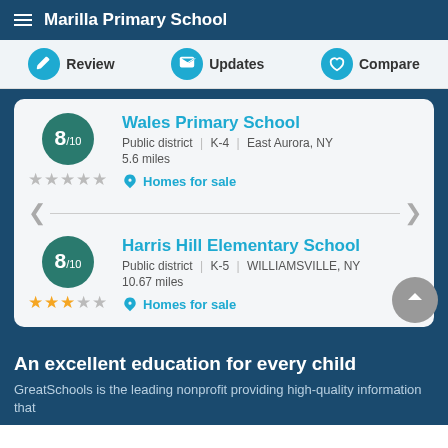Marilla Primary School
Review | Updates | Compare
Wales Primary School — Public district | K-4 | East Aurora, NY — 5.6 miles — 8/10 — ★★★★☆ — Homes for sale
Harris Hill Elementary School — Public district | K-5 | WILLIAMSVILLE, NY — 10.67 miles — 8/10 — ★★★☆☆ — Homes for sale
An excellent education for every child
GreatSchools is the leading nonprofit providing high-quality information that